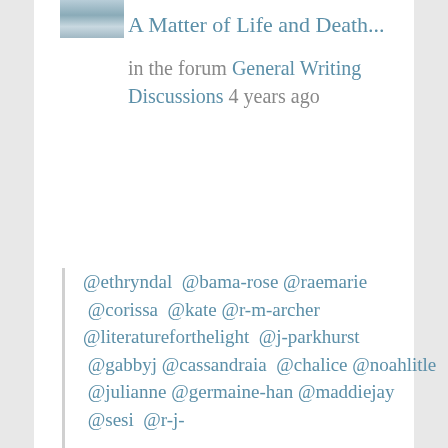[Figure (photo): Small avatar/thumbnail photo, appears to be a winter outdoor scene with snow]
A Matter of Life and Death...
in the forum General Writing Discussions 4 years ago
@ethryndal @bama-rose @raemarie @corissa @kate @r-m-archer @literatureforthelight @j-parkhurst @gabbyj @cassandraia @chalice @noahlitle @julianne @germaine-han @maddiejay @sesi @r-j-